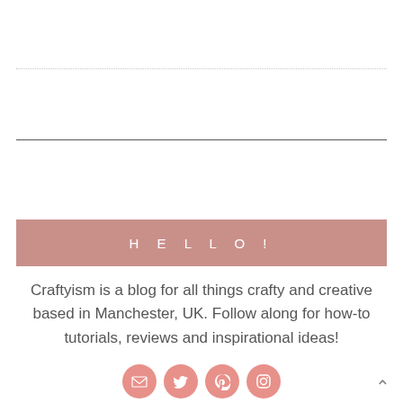HELLO!
Craftyism is a blog for all things crafty and creative based in Manchester, UK. Follow along for how-to tutorials, reviews and inspirational ideas!
[Figure (illustration): Four social media icon circles (email, Twitter, Pinterest, Instagram) in pink/salmon color]